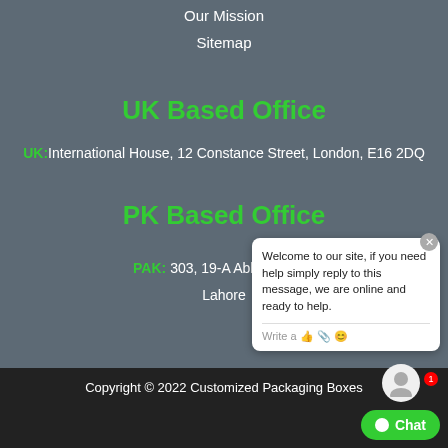Our Mission
Sitemap
UK Based Office
UK: International House, 12 Constance Street, London, E16 2DQ
PK Based Office
PAK: 303, 19-A Abbott Road, Lahore
[Figure (screenshot): Live chat popup widget showing welcome message and chat button]
Copyright © 2022 Customized Packaging Boxes